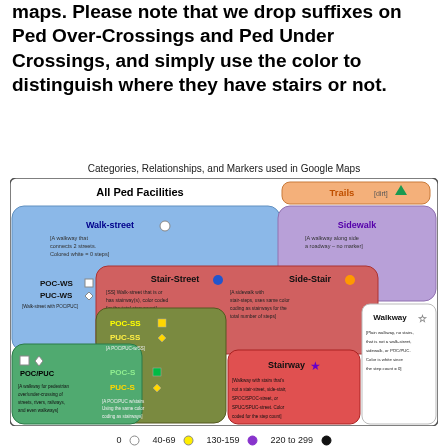maps. Please note that we drop suffixes on Ped Over-Crossings and Ped Under Crossings, and simply use the color to distinguish where they have stairs or not.
Categories, Relationships, and Markers used in Google Maps
[Figure (infographic): Diagram showing categories, relationships, and markers for pedestrian facilities used in Google Maps. Includes: All Ped Facilities, Trails (dirt), Walk-street, Sidewalk, Stair-Street, Side-Stair, POC-WS, PUC-WS, POC-SS, PUC-SS, POC/PUC, POC-S, PUC-S, Stairway, Walkway, with colored shapes as markers.]
0   ○   40-69   ○   130-159   ●   220 to 299   ●